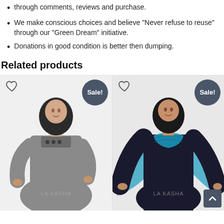through comments, reviews and purchase.
We make conscious choices and believe “Never refuse to reuse” through our “Green Dream” initiative.
Donations in good condition is better then dumping.
Related products
[Figure (photo): Woman wearing a grey abaya with embellished neckline and black hijab, LA KASHA watermark, Sale! badge]
[Figure (photo): Woman wearing a black abaya with teal/blue embroidered border shawl and black hijab, LA KASHA watermark, Sale! badge]